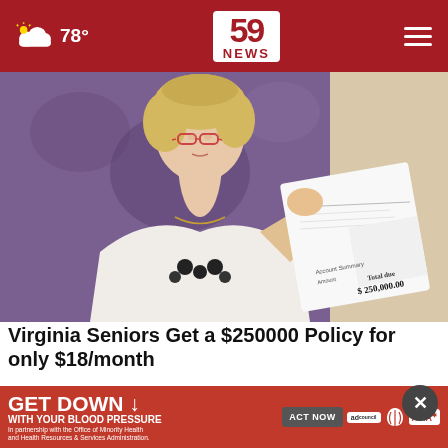59 NEWS | 78°
[Figure (photo): A middle-aged woman with short blonde hair and glasses holding up a large bill showing $ 250,000.00 total due, standing in front of a purple wall]
Virginia Seniors Get a $250000 Policy for only $18/month
Smart Lifestyle Trends
[Figure (infographic): GET DOWN WITH YOUR BLOOD PRESSURE advertisement banner in partnership with the Office of Minority Health and Health Resources & Services Administration. Features Ad Council, American Heart Association, and AMA logos with ACT NOW button.]